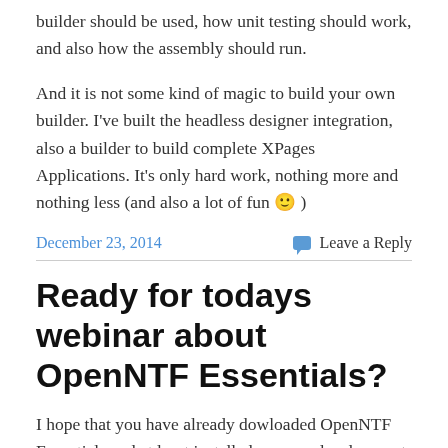builder should be used, how unit testing should work, and also how the assembly should run.
And it is not some kind of magic to build your own builder. I've built the headless designer integration, also a builder to build complete XPages Applications. It's only hard work, nothing more and nothing less (and also a lot of fun 🙂 )
December 23, 2014
Leave a Reply
Ready for todays webinar about OpenNTF Essentials?
I hope that you have already dowloaded OpenNTF Essentials and at least installed on your development computer. If not, it's a 5 minute job as you can see in this